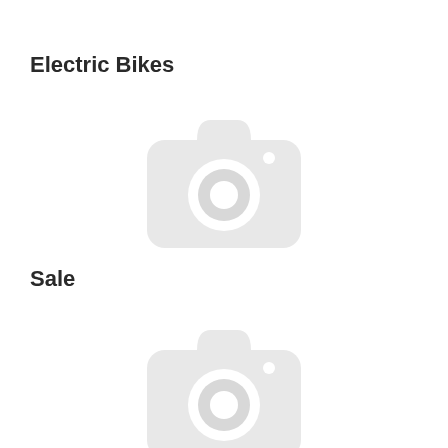Electric Bikes
[Figure (illustration): Camera placeholder icon indicating a missing product image for Electric Bikes category]
Sale
[Figure (illustration): Camera placeholder icon indicating a missing product image for Sale category]